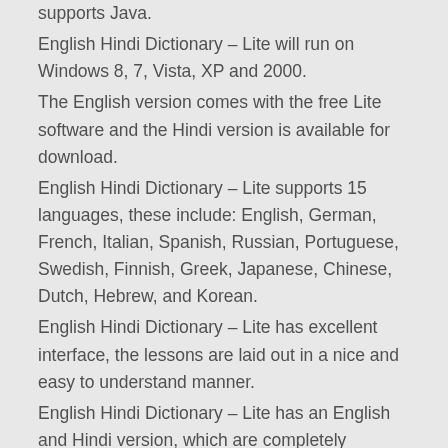supports Java.
English Hindi Dictionary – Lite will run on Windows 8, 7, Vista, XP and 2000.
The English version comes with the free Lite software and the Hindi version is available for download.
English Hindi Dictionary – Lite supports 15 languages, these include: English, German, French, Italian, Spanish, Russian, Portuguese, Swedish, Finnish, Greek, Japanese, Chinese, Dutch, Hebrew, and Korean.
English Hindi Dictionary – Lite has excellent interface, the lessons are laid out in a nice and easy to understand manner.
English Hindi Dictionary – Lite has an English and Hindi version, which are completely interchangeable.
English Hindi Dictionary – Lite works perfectly in Windows 8 and 10, it will work in any platform that supports Java. You can save the scores and result lists.